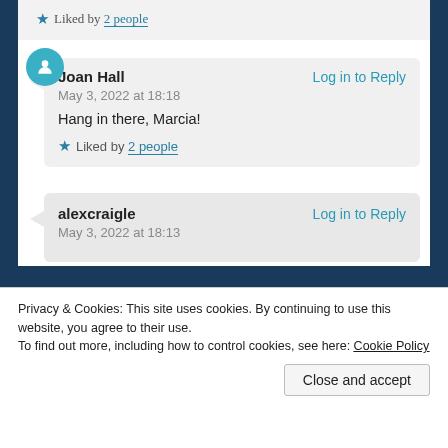★ Liked by 2 people
Joan Hall
Log in to Reply
May 3, 2022 at 18:18
Hang in there, Marcia!
★ Liked by 2 people
alexcraigle
Log in to Reply
May 3, 2022 at 18:13
Privacy & Cookies: This site uses cookies. By continuing to use this website, you agree to their use.
To find out more, including how to control cookies, see here: Cookie Policy
Close and accept